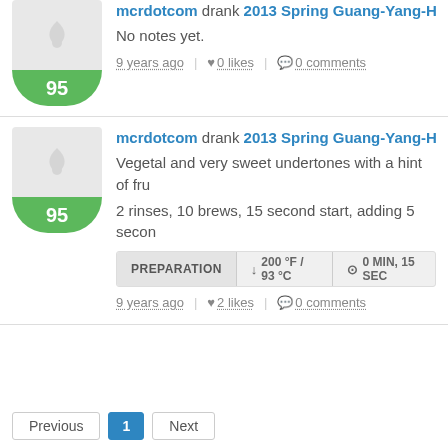mcrdotcom drank 2013 Spring Guang-Yang-Hao D
No notes yet.
9 years ago | ♥ 0 likes | 0 comments
mcrdotcom drank 2013 Spring Guang-Yang-Hao D
Vegetal and very sweet undertones with a hint of fru
2 rinses, 10 brews, 15 second start, adding 5 secon
PREPARATION | ↓ 200 °F / 93 °C | ⊙ 0 MIN, 15 SEC
9 years ago | ♥ 2 likes | 0 comments
Previous | 1 | Next